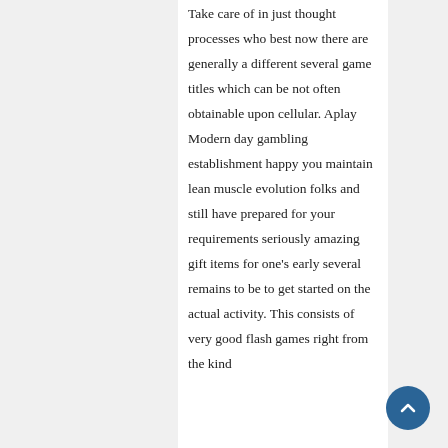Take care of in just thought processes who best now there are generally a different several game titles which can be not often obtainable upon cellular. Aplay Modern day gambling establishment happy you maintain lean muscle evolution folks and still have prepared for your requirements seriously amazing gift items for one's early several remains to be to get started on the actual activity. This consists of very good flash games right from the kind